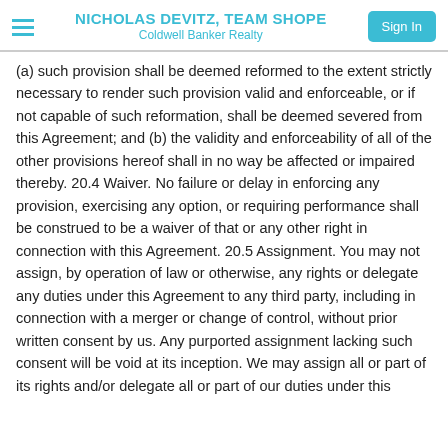NICHOLAS DEVITZ, TEAM SHOPE
Coldwell Banker Realty
(a) such provision shall be deemed reformed to the extent strictly necessary to render such provision valid and enforceable, or if not capable of such reformation, shall be deemed severed from this Agreement; and (b) the validity and enforceability of all of the other provisions hereof shall in no way be affected or impaired thereby. 20.4 Waiver. No failure or delay in enforcing any provision, exercising any option, or requiring performance shall be construed to be a waiver of that or any other right in connection with this Agreement. 20.5 Assignment. You may not assign, by operation of law or otherwise, any rights or delegate any duties under this Agreement to any third party, including in connection with a merger or change of control, without prior written consent by us. Any purported assignment lacking such consent will be void at its inception. We may assign all or part of its rights and/or delegate all or part of our duties under this Agreement to any party at any time without notice to you.